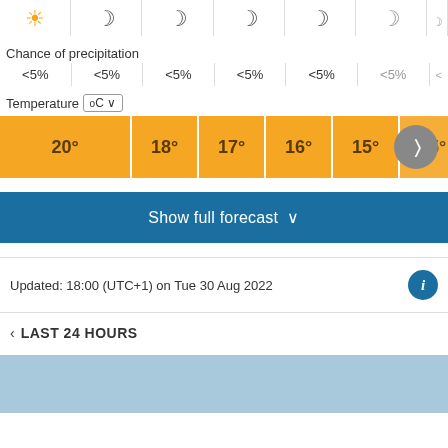[Figure (infographic): Weather forecast icon row showing sun and crescent moon icons across time slots]
Chance of precipitation
<5%  <5%  <5%  <5%  <5%  <5%
Temperature ºC
[Figure (infographic): Temperature bar row showing orange bars with temperatures: 20º, 18º, 17º, 16º, 15º, 15º with a next arrow button]
Show full forecast
Updated: 18:00 (UTC+1) on Tue 30 Aug 2022
< LAST 24 HOURS
[Figure (other): Light blue chart area at the bottom of the page]